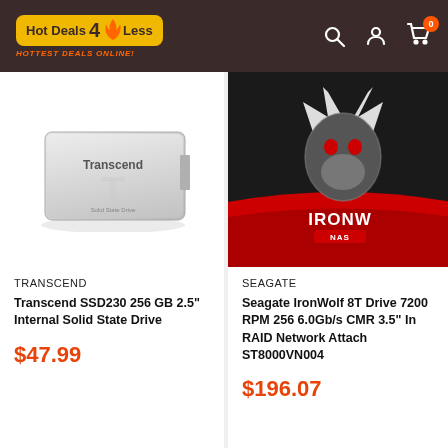[Figure (logo): Hot Deals 4 Less logo with flame graphic and tagline HOTTEST DEALS ONLINE!]
[Figure (photo): Transcend SSD230 256GB silver 2.5 inch solid state drive on white background]
TRANSCEND
Transcend SSD230 256 GB 2.5" Internal Solid State Drive
$47.99
[Figure (photo): Seagate IronWolf NAS hard drive product image with black and red branding, partially cropped]
SEAGATE
Seagate IronWolf 8T Drive 7200 RPM 256 6.0Gb/s CMR 3.5" In RAID Network Attach ST8000VN004
$196.07